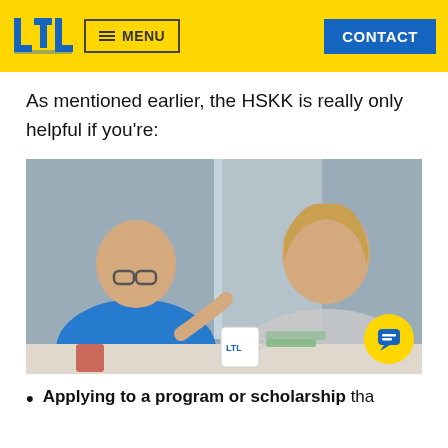LTL | MENU | CONTACT
As mentioned earlier, the HSKK is really only helpful if you're:
[Figure (photo): Two people sitting at a table in conversation; a man in a blue shirt on the left gesturing and a woman in a patterned shirt on the right, with an LTL branded mug on the table.]
Applying to a program or scholarship tha…